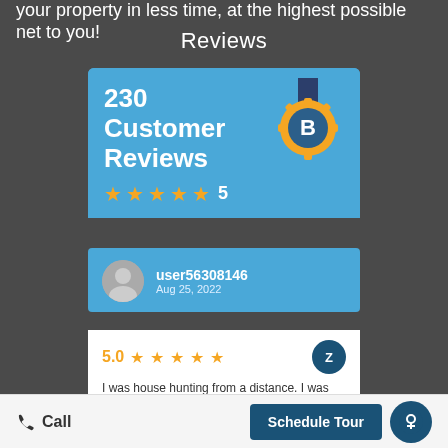your property in less time, at the highest possible net to you!
Reviews
[Figure (infographic): Reviews panel showing 230 Customer Reviews with 5 stars rating and a badge icon]
user56308146
Aug 25, 2022
5.0 ★★★★★
I was house hunting from a distance. I was not always able to drive the 70-miles to look at places, drive neighborhoods, etc. A... more
Call   Schedule Tour